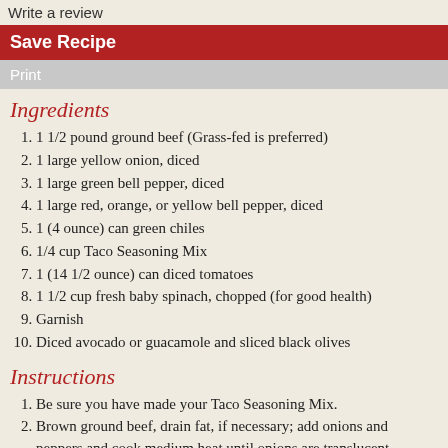Write a review
Save Recipe
Print
Ingredients
1. 1 1/2 pound ground beef (Grass-fed is preferred)
2. 1 large yellow onion, diced
3. 1 large green bell pepper, diced
4. 1 large red, orange, or yellow bell pepper, diced
5. 1 (4 ounce) can green chiles
6. 1/4 cup Taco Seasoning Mix
7. 1 (14 1/2 ounce) can diced tomatoes
8. 1 1/2 cup fresh baby spinach, chopped (for good health)
9. Garnish
10. Diced avocado or guacamole and sliced black olives
Instructions
1. Be sure you have made your Taco Seasoning Mix.
2. Brown ground beef, drain fat, if necessary; add onions and peppers and cook medium heat until onions are translucent